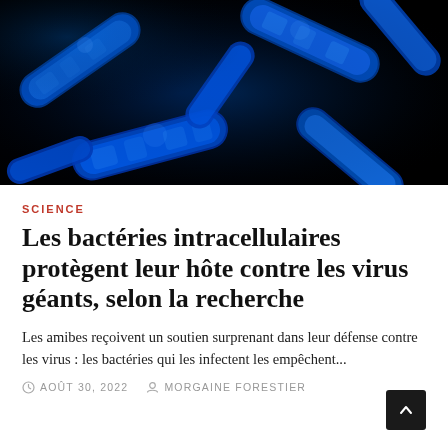[Figure (photo): Electron microscope image of blue glowing rod-shaped bacteria on a black background]
SCIENCE
Les bactéries intracellulaires protègent leur hôte contre les virus géants, selon la recherche
Les amibes reçoivent un soutien surprenant dans leur défense contre les virus : les bactéries qui les infectent les empêchent...
AOÛT 30, 2022   MORGAINE FORESTIER